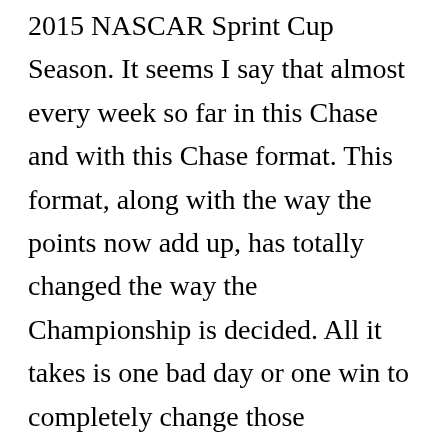2015 NASCAR Sprint Cup Season. It seems I say that almost every week so far in this Chase and with this Chase format. This format, along with the way the points now add up, has totally changed the way the Championship is decided. All it takes is one bad day or one win to completely change those considered to be the final four that will compete for the Championship at Homestead. Consistency still plays a part in the sense that a driver can't afford to have a bad day, especially at certain critical times in this